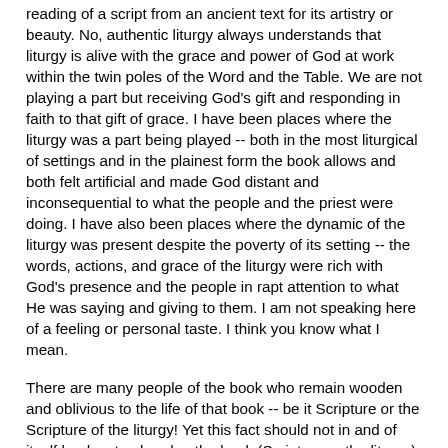reading of a script from an ancient text for its artistry or beauty.  No, authentic liturgy always understands that liturgy is alive with the grace and power of God at work within the twin poles of the Word and the Table.  We are not playing a part but receiving God's gift and responding in faith to that gift of grace.  I have been places where the liturgy was a part being played -- both in the most liturgical of settings and in the plainest form the book allows and both felt artificial and made God distant and inconsequential to what the people and the priest were doing.  I have also been places where the dynamic of the liturgy was present despite the poverty of its setting -- the words, actions, and grace of the liturgy were rich with God's presence and the people in rapt attention to what He was saying and giving to them.  I am not speaking here of a feeling or personal taste.  I think you know what I mean.
There are many people of the book who remain wooden and oblivious to the life of that book -- be it Scripture or the Scripture of the liturgy!  Yet this fact should not in and of itself lead us to abandon the book (Scripture or the liturgy).  Every day we get into a car and drive amidst danger to our